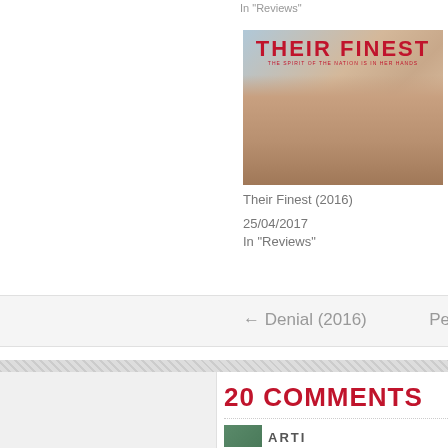In "Reviews"
[Figure (photo): Movie poster for 'Their Finest' (2016) showing three actors' faces with the film title in large red text and tagline 'The Spirit of the Nation is in Her Hands']
Their Finest (2016)
25/04/2017
In "Reviews"
← Denial (2016)
Pe
20 COMMENTS
ARTI